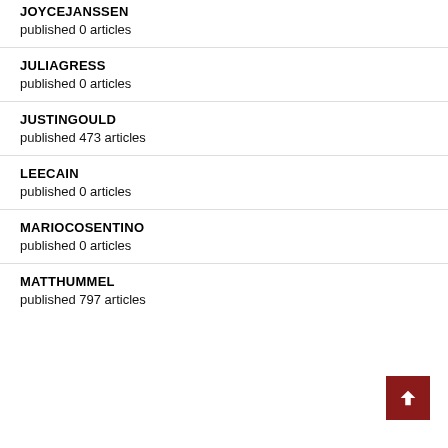JOYCEJANSSEN
published 0 articles
JULIAGRESS
published 0 articles
JUSTINGOULD
published 473 articles
LEECAIN
published 0 articles
MARIOCOSENTINO
published 0 articles
MATTHUMMEL
published 797 articles